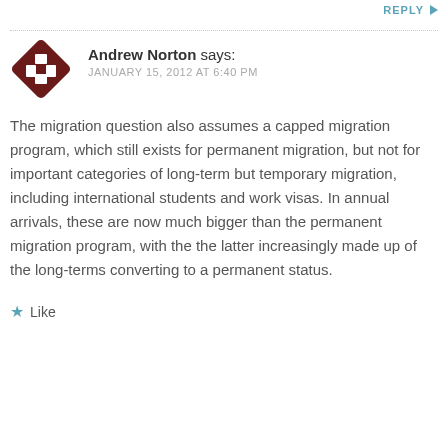REPLY →
[Figure (logo): Dark maroon/brown diamond-shaped avatar icon with a grid pattern of squares inside, on a white background]
Andrew Norton says:
JANUARY 15, 2012 AT 6:40 PM
The migration question also assumes a capped migration program, which still exists for permanent migration, but not for important categories of long-term but temporary migration, including international students and work visas. In annual arrivals, these are now much bigger than the permanent migration program, with the the latter increasingly made up of the long-terms converting to a permanent status.
★ Like